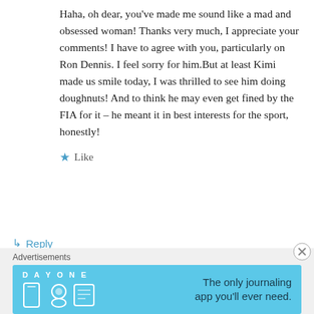Haha, oh dear, you've made me sound like a mad and obsessed woman! Thanks very much, I appreciate your comments! I have to agree with you, particularly on Ron Dennis. I feel sorry for him.But at least Kimi made us smile today, I was thrilled to see him doing doughnuts! And to think he may even get fined by the FIA for it – he meant it in best interests for the sport, honestly!
★ Like
↳ Reply
Jurista on September 19, 2007 at 4:03 am
[Figure (other): Advertisements banner: DAY ONE journaling app ad with teal background, icons, and text 'The only journaling app you'll ever need.']